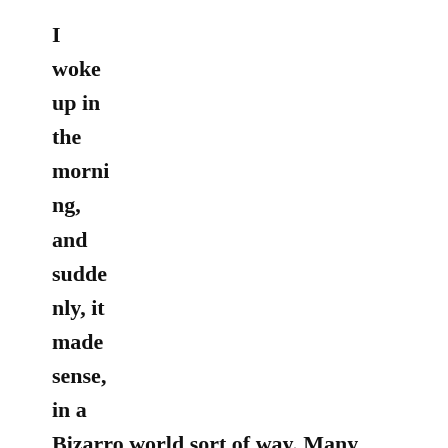I
woke
up in
the
morni
ng,
and
sudde
nly, it
made
sense,
in a
Bizarro world sort of way. Many pundits said there was no October surprise in 2020. I would disagree. The surprise was djt getting COVID.